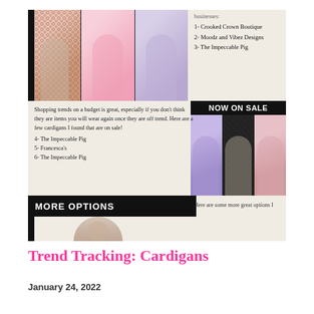[Figure (screenshot): Blog post screenshot showing cardigan fashion photos, 'NOW ON SALE' banner with sale cardigans, 'MORE OPTIONS' banner, and list items of boutique businesses including Crooked Crown Boutique, Moodz and Vibez Designs, The Impeccable Pig, Francesca's]
businesses:
1- Crooked Crown Boutique
2- Moodz and Vibez Designs
3- The Impeccable Pig
Shopping trends on a budget is great, especially if you don't think they are items you will wear again once they are off trend. Here are a few cardigans I found that are on sale!
4- The Impeccable Pig
5- Francesca's
6- The Impeccable Pig
Here are some more great options I
Trend Tracking: Cardigans
January 24, 2022